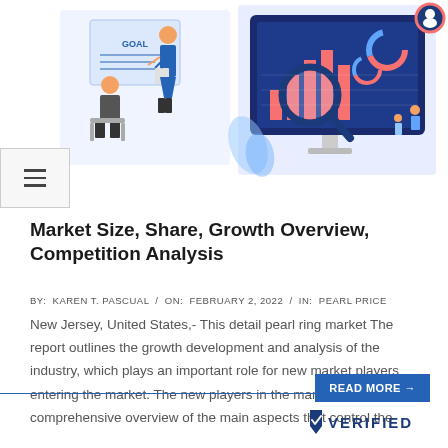[Figure (illustration): Two-part illustration: left side shows a person presenting at a whiteboard to a seated person; right side shows an analytics dashboard on a monitor with a magnifying glass and data visuals in blue and orange tones.]
Market Size, Share, Growth Overview, Competition Analysis
BY:  KAREN T. PASCUAL  /  ON:  FEBRUARY 2, 2022  /  IN:  PEARL PRICE
New Jersey, United States,- This detail pearl ring market The report outlines the growth development and analysis of the industry, which plays an important role for new market players entering the market. The new players in the market can get a comprehensive overview of the main aspects that control the
READ MORE →
[Figure (logo): VERIFIED logo with checkmark/tick icon in dark blue at the bottom right corner of the page.]